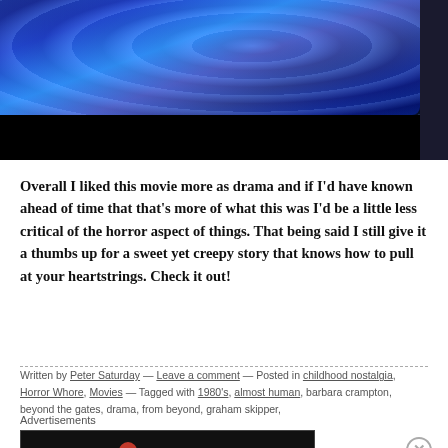[Figure (photo): Dark blue abstract photo, possibly a close-up of a fuzzy or textured surface lit with blue/purple light, bottom portion is black]
Overall I liked this movie more as drama and if I'd have known ahead of time that that's more of what this was I'd be a little less critical of the horror aspect of things. That being said I still give it a thumbs up for a sweet yet creepy story that knows how to pull at your heartstrings. Check it out!
Written by Peter Saturday — Leave a comment — Posted in childhood nostalgia, Horror Whore, Movies — Tagged with 1980's, almost human, barbara crampton, beyond the gates, drama, from beyond, graham skipper,
Advertisements
[Figure (screenshot): Longreads advertisement banner: dark background with Longreads logo and tagline 'Read anything great lately?']